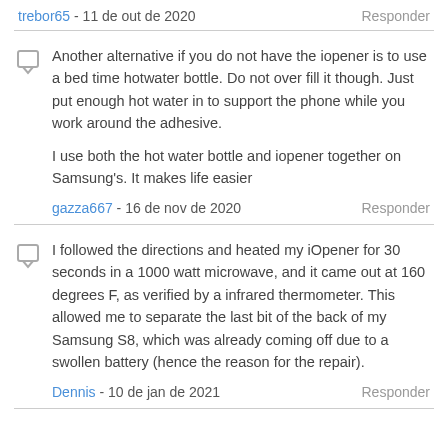trebor65 - 11 de out de 2020   Responder
Another alternative if you do not have the iopener is to use a bed time hotwater bottle. Do not over fill it though. Just put enough hot water in to support the phone while you work around the adhesive.

I use both the hot water bottle and iopener together on Samsung's. It makes life easier
gazza667 - 16 de nov de 2020   Responder
I followed the directions and heated my iOpener for 30 seconds in a 1000 watt microwave, and it came out at 160 degrees F, as verified by a infrared thermometer. This allowed me to separate the last bit of the back of my Samsung S8, which was already coming off due to a swollen battery (hence the reason for the repair).
Dennis - 10 de jan de 2021   Responder